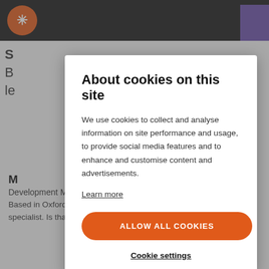[Figure (screenshot): Website top navigation bar with orange logo circle and purple box on right]
About cookies on this site
We use cookies to collect and analyse information on site performance and usage, to provide social media features and to enhance and customise content and advertisements.
Learn more
ALLOW ALL COOKIES
Cookie settings
M
Development Manager - Ridgeway
Based in Oxford. Recently a JAMstack enthusiast and Azure specialist. Is that because Azure is carbon neutral? Matt will tell you.